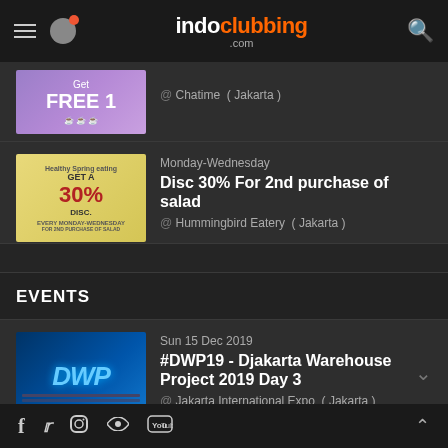indoclubbing.com
[Figure (screenshot): Chatime promo image - Get FREE 1]
@ Chatime ( Jakarta )
[Figure (screenshot): Healthy Spring eating GET A 30% DISC]
Monday-Wednesday
Disc 30% For 2nd purchase of salad
@ Hummingbird Eatery ( Jakarta )
EVENTS
[Figure (screenshot): DWP19 event poster - Djakarta Warehouse Project 2019 Day 3]
Sun 15 Dec 2019
#DWP19 - Djakarta Warehouse Project 2019 Day 3
@ Jakarta International Expo ( Jakarta )
[Figure (screenshot): DWP19 event poster - Djakarta Warehouse Project 2019 Day 2]
Sat 14 Dec 2019
#DWP19 - Djakarta Warehouse Project 2019 Day 2
@ Jakarta International Expo ( Jakarta )
f  twitter  instagram  soundcloud  youtube